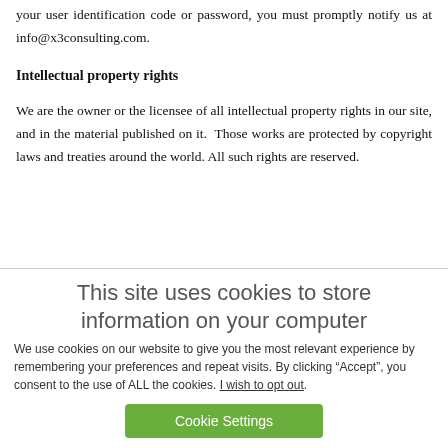your user identification code or password, you must promptly notify us at info@x3consulting.com.
Intellectual property rights
We are the owner or the licensee of all intellectual property rights in our site, and in the material published on it. Those works are protected by copyright laws and treaties around the world. All such rights are reserved.
This site uses cookies to store information on your computer
We use cookies on our website to give you the most relevant experience by remembering your preferences and repeat visits. By clicking “Accept”, you consent to the use of ALL the cookies. I wish to opt out.
Cookie Settings